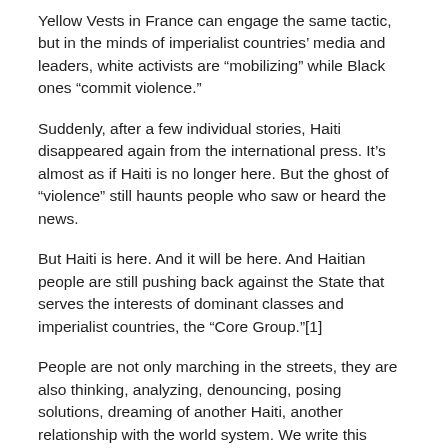Yellow Vests in France can engage the same tactic, but in the minds of imperialist countries’ media and leaders, white activists are “mobilizing” while Black ones “commit violence.”
Suddenly, after a few individual stories, Haiti disappeared again from the international press. It’s almost as if Haiti is no longer here. But the ghost of “violence” still haunts people who saw or heard the news.
But Haiti is here. And it will be here. And Haitian people are still pushing back against the State that serves the interests of dominant classes and imperialist countries, the “Core Group.”[1]
People are not only marching in the streets, they are also thinking, analyzing, denouncing, posing solutions, dreaming of another Haiti, another relationship with the world system. We write this series of articles to amplify the voices of people who are analyzing the current situation and are trying to find the path to another Haiti. In this series of articles, we try to diversify people’s voices, analyses, realities, and demands.
This short introductory test begins to situate where the PetroCaribe mobilization originated. Consult the article that the Kolektif Anakawona wrote for more details.